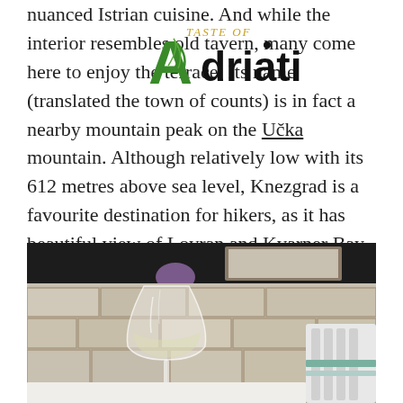nuanced Istrian cuisine. And while the interior resembles old tavern, many come here to enjoy the terrace. Its name (translated the town of counts) is in fact a nearby mountain peak on the Učka mountain. Although relatively low with its 612 metres above sea level, Knezgrad is a favourite destination for hikers, as it has beautiful view of Lovran and Kvarner Bay.
[Figure (logo): Taste of Adriatic logo overlaid on text]
[Figure (photo): A wine glass with white wine on a terrace with stone wall background and white chair visible]